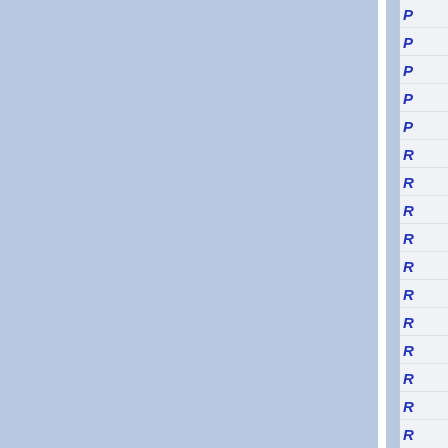[Figure (other): Page layout showing two light blue panels separated by a white vertical divider, with a right-side navigation sidebar containing blue italic letter labels (P and R entries) in rows separated by horizontal lines.]